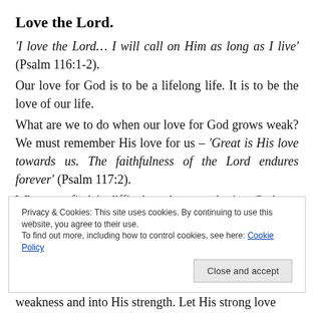Love the Lord.
'I love the Lord… I will call on Him as long as I live' (Psalm 116:1-2).
Our love for God is to be a lifelong life. It is to be the love of our life.
What are we to do when our love for God grows weak? We must remember His love for us – 'Great is His love towards us. The faithfulness of the Lord endures forever' (Psalm 117:2).
When we find it difficult to keep on loving God, we must remember how much He loves us.
When we feel like giving up on loving God, we must
Privacy & Cookies: This site uses cookies. By continuing to use this website, you agree to their use.
To find out more, including how to control cookies, see here: Cookie Policy
weakness and into His strength. Let His strong love